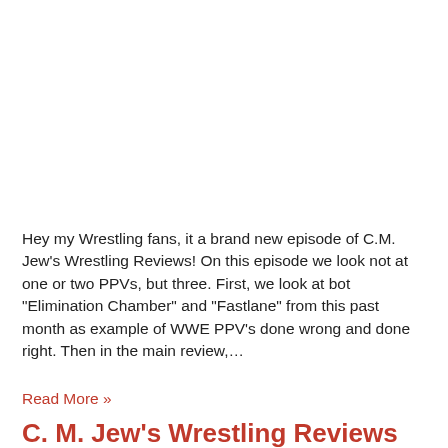Hey my Wrestling fans, it a brand new episode of C.M. Jew's Wrestling Reviews! On this episode we look not at one or two PPVs, but three. First, we look at bot “Elimination Chamber” and “Fastlane” from this past month as example of WWE PPV’s done wrong and done right. Then in the main review,…
Read More »
C. M. Jew’s Wrestling Reviews #63 “NWA Chi-